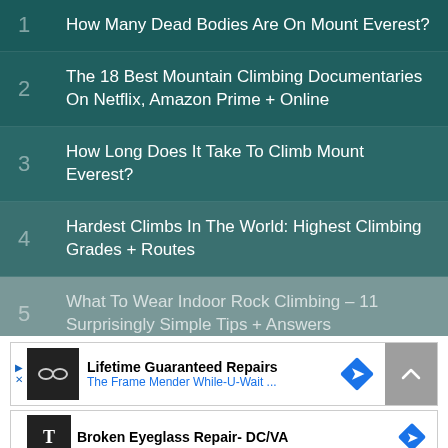1 How Many Dead Bodies Are On Mount Everest?
2 The 18 Best Mountain Climbing Documentaries On Netflix, Amazon Prime + Online
3 How Long Does It Take To Climb Mount Everest?
4 Hardest Climbs In The World: Highest Climbing Grades + Routes
5 What To Wear Indoor Rock Climbing – 11 Surprisingly Simple Tips + Answers
[Figure (other): Advertisement banner: Lifetime Guaranteed Repairs – The Frame Mender While-U-Wait. with eyeglasses icon, navigation arrow diamond icon, and scroll-to-top button]
[Figure (other): Advertisement banner: Broken Eyeglass Repair - DC/VA with logo icon and navigation arrow diamond icon]